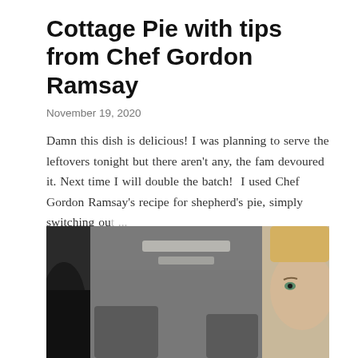Cottage Pie with tips from Chef Gordon Ramsay
November 19, 2020
Damn this dish is delicious! I was planning to serve the leftovers tonight but there aren't any, the fam devoured it. Next time I will double the batch!  I used Chef Gordon Ramsay's recipe for shepherd's pie, simply switching ou ...
SHARE   POST A COMMENT   READ MORE
[Figure (photo): Two people taking a selfie in a car interior, viewed from inside the vehicle looking toward the windshield area]